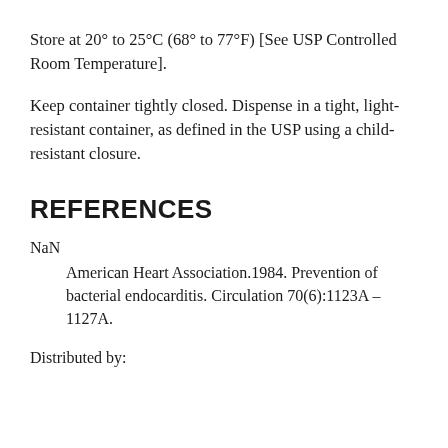Store at 20° to 25°C (68° to 77°F) [See USP Controlled Room Temperature].
Keep container tightly closed. Dispense in a tight, light-resistant container, as defined in the USP using a child-resistant closure.
REFERENCES
NaN
American Heart Association.1984. Prevention of bacterial endocarditis. Circulation 70(6):1123A –1127A.
Distributed by: